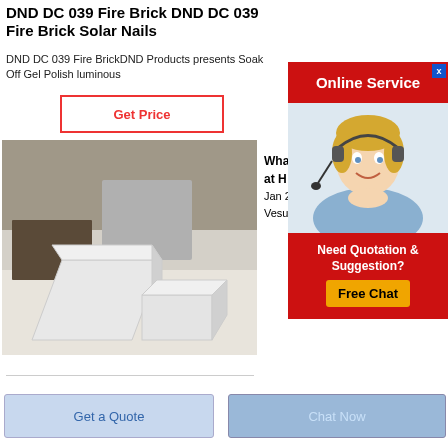DND DC 039 Fire Brick DND DC 039 Fire Brick Solar Nails
DND DC 039 Fire BrickDND Products presents Soak Off Gel Polish luminous
Get Price
[Figure (photo): Photo of white/grey fire bricks stacked on a light surface]
Wha
at H
Jan 2
Vesu
[Figure (advertisement): Online Service ad with red header, smiling blonde woman with headset, and Free Chat button]
Get a Quote
Chat Now